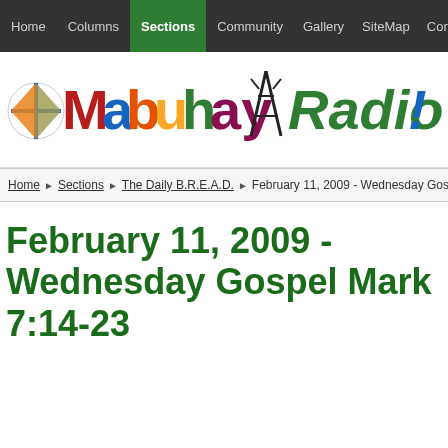Home | Columns | Sections | Community | Gallery | SiteMap | Contact Us | S
[Figure (logo): Mabuhay Radio! logo with colorful stylized text and radio tower graphic]
Home > Sections > The Daily B.R.E.A.D. > February 11, 2009 - Wednesday Gospel M
February 11, 2009 - Wednesday Gospel Mark 7:14-23